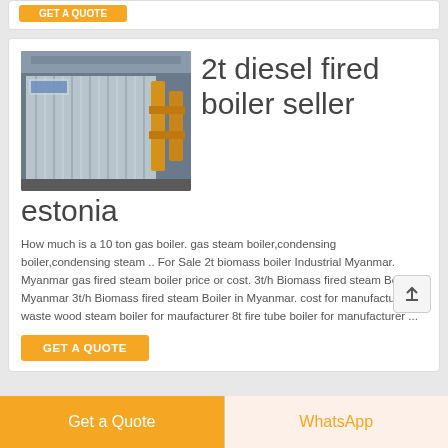[Figure (photo): Industrial boiler unit with metallic corrugated panels and yellow pipes in a factory setting]
2t diesel fired boiler seller estonia
How much is a 10 ton gas boiler. gas steam boiler,condensing boiler,condensing steam .. For Sale 2t biomass boiler Industrial Myanmar. Myanmar gas fired steam boiler price or cost. 3t/h Biomass fired steam Boiler in Myanmar 3t/h Biomass fired steam Boiler in Myanmar. cost for manufacturer 6t waste wood steam boiler for maufacturer 8t fire tube boiler for manufacturer ...
GET A QUOTE
Get a Quote
WhatsApp